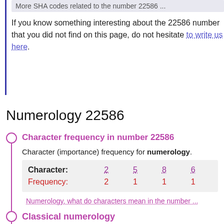More SHA codes related to the number 22586 ...
If you know something interesting about the 22586 number that you did not find on this page, do not hesitate to write us here.
Numerology 22586
Character frequency in number 22586
Character (importance) frequency for numerology.
| Character: | 2 | 5 | 8 | 6 |
| --- | --- | --- | --- | --- |
| Frequency: | 2 | 1 | 1 | 1 |
Numerology, what do characters mean in the number ...
Classical numerology